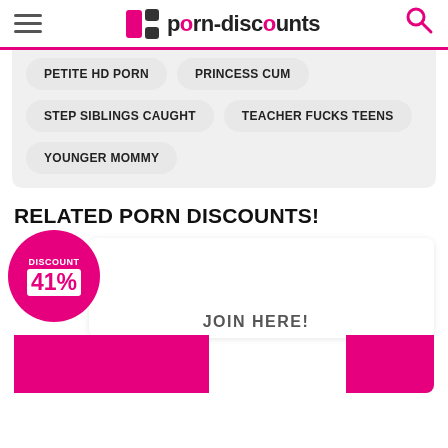porn-discounts
PETITE HD PORN
PRINCESS CUM
STEP SIBLINGS CAUGHT
TEACHER FUCKS TEENS
YOUNGER MOMMY
RELATED PORN DISCOUNTS!
DISCOUNT 41%
JOIN HERE!